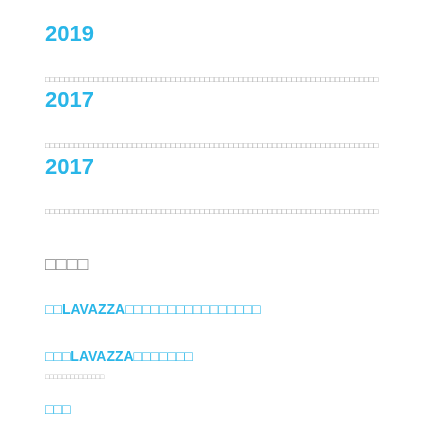2019
2017
2017
□□□□
□□LAVAZZA□□□□□□□□□□□□□□□□
□□□LAVAZZA□□□□□□□
□□□